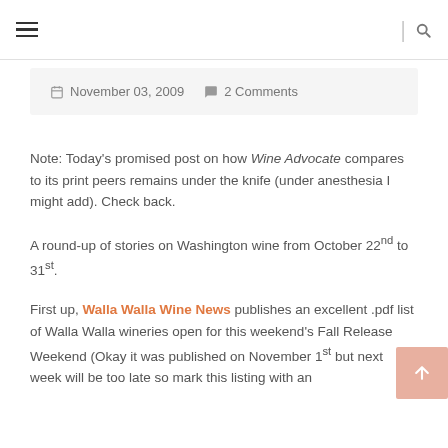≡  |  🔍
📅 November 03, 2009   💬 2 Comments
Note: Today's promised post on how Wine Advocate compares to its print peers remains under the knife (under anesthesia I might add). Check back.
A round-up of stories on Washington wine from October 22nd to 31st.
First up, Walla Walla Wine News publishes an excellent .pdf list of Walla Walla wineries open for this weekend's Fall Release Weekend (Okay it was published on November 1st but next week will be too late so mark this listing with an